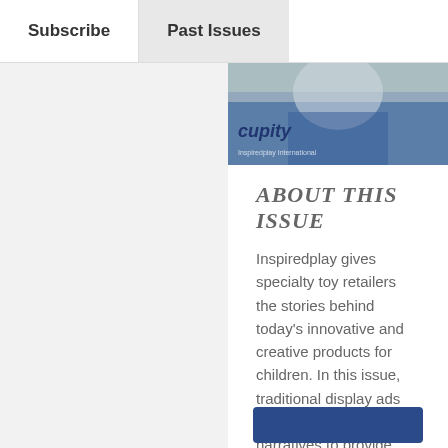Subscribe | Past Issues
[Figure (photo): Partial view of a magazine cover with a child in a blue outfit, text reading 'cupity' visible]
ABOUT THIS ISSUE
Inspiredplay gives specialty toy retailers the stories behind today's innovative and creative products for children. In this issue, traditional display ads combine with insightful narratives to provide valuable nuggets you can use today to sell products and promote play.